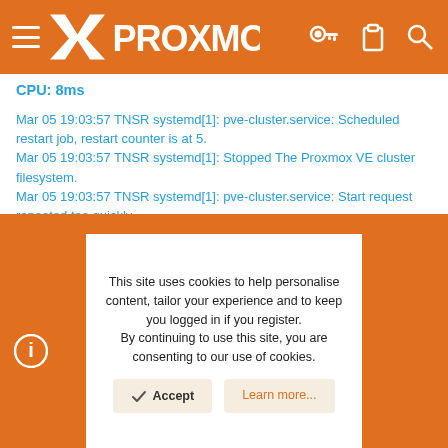Proxmox navigation bar with logo and icons
CPU: 8ms
Mar 05 19:03:57 TNSR systemd[1]: pve-cluster.service: Scheduled restart job, restart counter is at 5.
Mar 05 19:03:57 TNSR systemd[1]: Stopped The Proxmox VE cluster filesystem.
Mar 05 19:03:57 TNSR systemd[1]: pve-cluster.service: Start request repeated too quickly.
Mar 05 19:03:57 TNSR systemd[1]: pve-cluster.service: Failed with result 'exit-code'.
Mar 05 19:03:57 TNSR systemd[1]: Failed to start The Proxmox VE cluster filesystem.
This site uses cookies to help personalise content, tailor your experience and to keep you logged in if you register.
By continuing to use this site, you are consenting to our use of cookies.